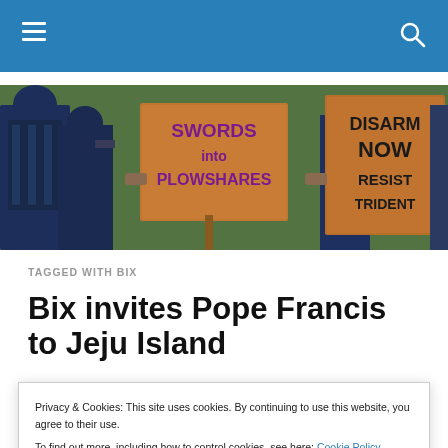Navigation bar with hamburger menu and search icon
[Figure (photo): Protesters holding cardboard signs reading 'SWORDS into PLOWSHARES' and 'DISARM NOW RESIST TRIDENT' outdoors with green foliage in background. People wearing dark jackets.]
TAGGED WITH BIX
Bix invites Pope Francis to Jeju Island
Privacy & Cookies: This site uses cookies. By continuing to use this website, you agree to their use.
To find out more, including how to control cookies, see here: Cookie Policy
Close and accept